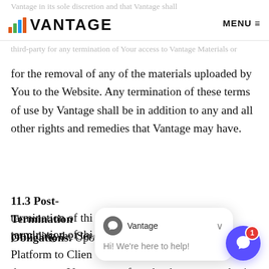VANTAGE  MENU
Vantage in its sole discretion and that Vantage shall [not be liable to You or any] third-party for any termination of Your access to Vantage Materials or for the removal of any of the materials uploaded by You to the Website. Any termination of these terms of use by Vantage shall be in addition to any and all other rights and remedies that Vantage may have.
11.3 Post-Termination Obligations.
Upon termination of thi[s Agreement, (i) Vantage will cease] providing the Ser[vices and access to the Vantage] Platform to Clien[t; (ii) Client shall within thirty (30)] days pay to Vantage any fees that have accrued prio[r] to the effective date of termination; and (iii) C[lient] will remove the Vantage pixel from its Vantage Materials and Vantage will not be liable for any
[Figure (screenshot): Vantage live chat popup with avatar, name 'Vantage', chevron close button, and message 'Hi! We're here to help!' along with a purple chat button with badge showing '1']